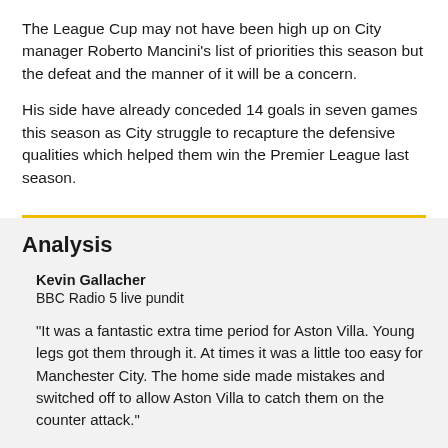The League Cup may not have been high up on City manager Roberto Mancini's list of priorities this season but the defeat and the manner of it will be a concern.
His side have already conceded 14 goals in seven games this season as City struggle to recapture the defensive qualities which helped them win the Premier League last season.
Analysis
Kevin Gallacher
BBC Radio 5 live pundit
"It was a fantastic extra time period for Aston Villa. Young legs got them through it. At times it was a little too easy for Manchester City. The home side made mistakes and switched off to allow Aston Villa to catch them on the counter attack."